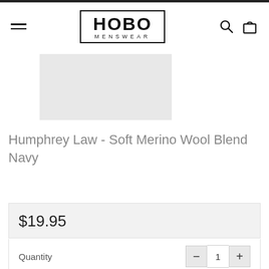HOBO MENSWEAR
[Figure (photo): Product image placeholder — light gray rectangle]
Humphrey Law - Soft Merino Wool Blend Navy
$19.95
Quantity
1